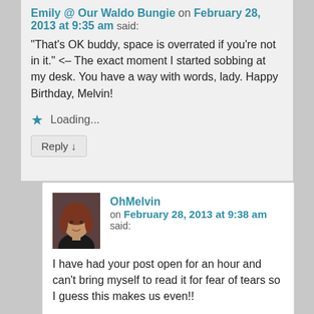Emily @ Our Waldo Bungie on February 28, 2013 at 9:35 am said:
“That’s OK buddy, space is overrated if you’re not in it.” <– The exact moment I started sobbing at my desk. You have a way with words, lady. Happy Birthday, Melvin!
Loading...
Reply ↓
OhMelvin on February 28, 2013 at 9:38 am said:
I have had your post open for an hour and can’t bring myself to read it for fear of tears so I guess this makes us even!!
Loading...